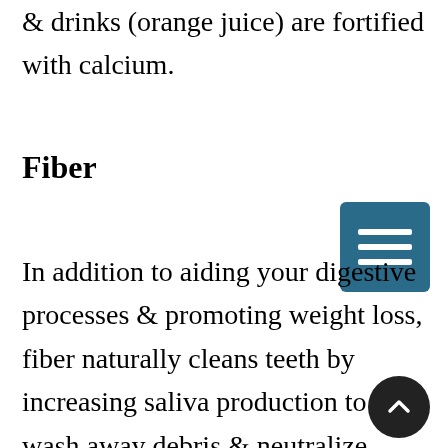& drinks (orange juice) are fortified with calcium.
Fiber
In addition to aiding your digestive processes & promoting weight loss, fiber naturally cleans teeth by increasing saliva production to wash away debris & neutralize acids. Fiber is present in so many healthy foods, such as leafy greens,